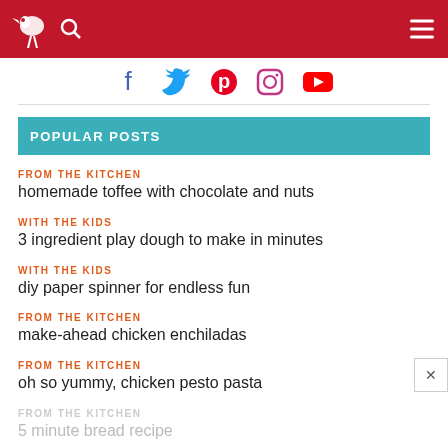Navigation header with logo, search, and menu
[Figure (illustration): Social media icons row: Facebook, Twitter, Pinterest, Instagram, YouTube]
POPULAR POSTS
FROM THE KITCHEN
homemade toffee with chocolate and nuts
WITH THE KIDS
3 ingredient play dough to make in minutes
WITH THE KIDS
diy paper spinner for endless fun
FROM THE KITCHEN
make-ahead chicken enchiladas
FROM THE KITCHEN
oh so yummy, chicken pesto pasta
FROM THE KITCHEN
5 minute bread recipe